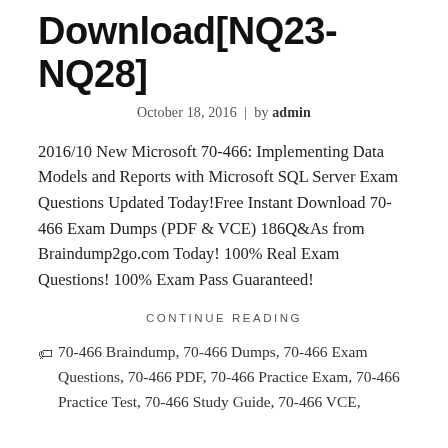Download[NQ23-NQ28]
October 18, 2016 | by admin
2016/10 New Microsoft 70-466: Implementing Data Models and Reports with Microsoft SQL Server Exam Questions Updated Today!Free Instant Download 70-466 Exam Dumps (PDF & VCE) 186Q&As from Braindump2go.com Today! 100% Real Exam Questions! 100% Exam Pass Guaranteed!
CONTINUE READING
70-466 Braindump, 70-466 Dumps, 70-466 Exam Questions, 70-466 PDF, 70-466 Practice Exam, 70-466 Practice Test, 70-466 Study Guide, 70-466 VCE,